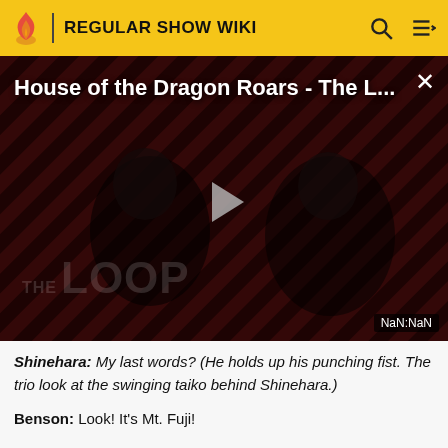REGULAR SHOW WIKI
[Figure (screenshot): Video player thumbnail showing 'House of the Dragon Roars - The L...' with THE LOOP branding, a play button, and NaN:NaN timestamp overlay. Dark diagonal stripe background with two figures silhouetted.]
Shinehara: My last words? (He holds up his punching fist. The trio look at the swinging taiko behind Shinehara.)
Benson: Look! It's Mt. Fuji!
Shinehara: Huh? (looks behind him. Mordecai and Rigby...